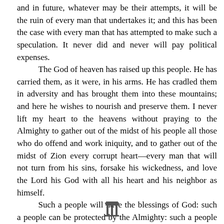and in future, whatever may be their attempts, it will be the ruin of every man that undertakes it; and this has been the case with every man that has attempted to make such a speculation. It never did and never will pay political expenses.

The God of heaven has raised up this people. He has carried them, as it were, in his arms. He has cradled them in adversity and has brought them into these mountains; and here he wishes to nourish and preserve them. I never lift my heart to the heavens without praying to the Almighty to gather out of the midst of his people all those who do offend and work iniquity, and to gather out of the midst of Zion every corrupt heart—every man that will not turn from his sins, forsake his wickedness, and love the Lord his God with all his heart and his neighbor as himself.

Such a people will have the blessings of God: such a people can be protected by the Almighty: such a people cannot be overthrown by all earth and hell combined. Then let us be such a people; and if corruption exists in our hearts, let us cut it out; for I can tell you we shall be sifted as with a sieve; and while our
[Figure (illustration): Small decorative icon resembling a classical column or pillar, centered at the bottom of the page]